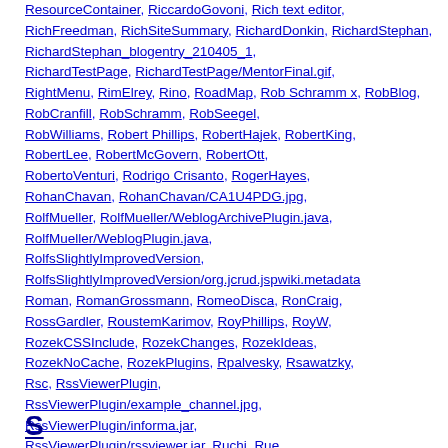ResourceContainer, RiccardoGovoni, Rich text editor, RichFreedman, RichSiteSummary, RichardDonkin, RichardStephan, RichardStephan_blogentry_210405_1, RichardTestPage, RichardTestPage/MentorFinal.gif, RightMenu, RimElrey, Rino, RoadMap, Rob Schramm x, RobBlog, RobCranfill, RobSchramm, RobSeegel, RobWilliams, Robert Phillips, RobertHajek, RobertKing, RobertLee, RobertMcGovern, RobertOtt, RobertoVenturi, Rodrigo Crisanto, RogerHayes, RohanChavan, RohanChavan/CA1U4PDG.jpg, RolfMueller, RolfMueller/WeblogArchivePlugin.java, RolfMueller/WeblogPlugin.java, RolfsSlightlyImprovedVersion, RolfsSlightlyImprovedVersion/org.jcrud.jspwiki.metadata, Roman, RomanGrossmann, RomeoDisca, RonCraig, RossGardler, RoustemKarimov, RoyPhillips, RoyW, RozekCSSInclude, RozekChanges, RozekIdeas, RozekNoCache, RozekPlugins, Rpalvesky, Rsawatzky, Rsc, RssViewerPlugin, RssViewerPlugin/example_channel.jpg, RssViewerPlugin/informa.jar, RssViewerPlugin/rssviewer.jar, Ruchi, Rue, RunningOnSJSWS, RunningTomcatOnKaffe, RvW, Ryczard Haase
S